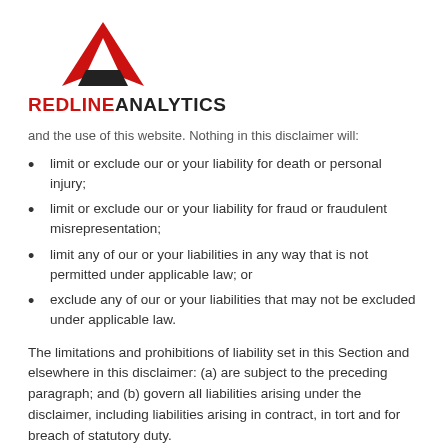[Figure (logo): Redline Analytics logo: red and black triangular/arrow mark above the company name in red and dark text]
and the use of this website. Nothing in this disclaimer will:
limit or exclude our or your liability for death or personal injury;
limit or exclude our or your liability for fraud or fraudulent misrepresentation;
limit any of our or your liabilities in any way that is not permitted under applicable law; or
exclude any of our or your liabilities that may not be excluded under applicable law.
The limitations and prohibitions of liability set in this Section and elsewhere in this disclaimer: (a) are subject to the preceding paragraph; and (b) govern all liabilities arising under the disclaimer, including liabilities arising in contract, in tort and for breach of statutory duty.